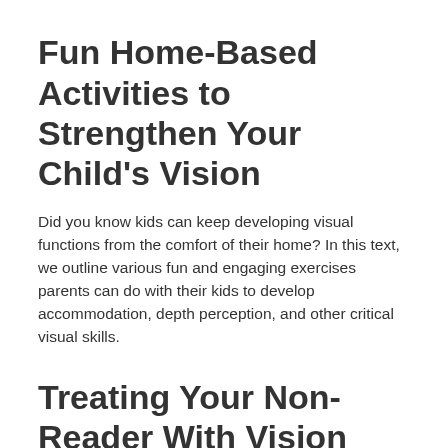brain.
Fun Home-Based Activities to Strengthen Your Child’s Vision
Did you know kids can keep developing visual functions from the comfort of their home? In this text, we outline various fun and engaging exercises parents can do with their kids to develop accommodation, depth perception, and other critical visual skills.
Treating Your Non-Reader With Vision Therapy
Are you frustrated your bright child is not reading at the level you think they should be? They may actually be suffering from an issue in their visual system. Our practice can assess more than just 20/20 vision and use vision therapy to treat any vision-related learning issues that could be affecting your child.
Building Your Child’s Confidence